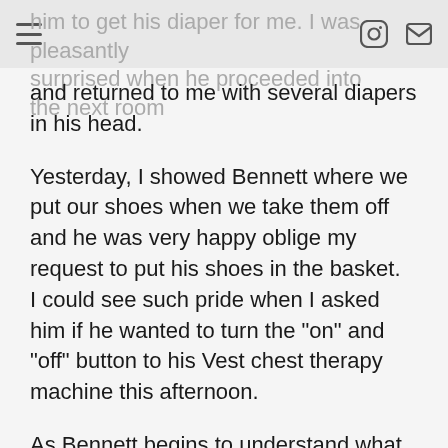him to get his diaper for me. I was pleasantly surprised when he proceeded into the next room
and returned to me with several diapers in his head.
Yesterday, I showed Bennett where we put our shoes when we take them off and he was very happy oblige my request to put his shoes in the basket.  I could see such pride when I asked him if he wanted to turn the "on" and "off" button to his Vest chest therapy machine this afternoon.
As Bennett begins to understand what we are doing and how we do things, we have started taking opportunities to teach him how to care for himself.  One of the ways we have started helping him take ownership of his health needs is by allowing him to push his medicine through the